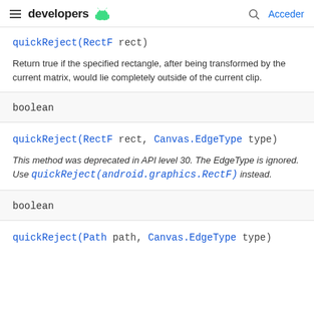developers [android icon] | Acceder
quickReject(RectF rect)
Return true if the specified rectangle, after being transformed by the current matrix, would lie completely outside of the current clip.
boolean
quickReject(RectF rect, Canvas.EdgeType type)
This method was deprecated in API level 30. The EdgeType is ignored. Use quickReject(android.graphics.RectF) instead.
boolean
quickReject(Path path, Canvas.EdgeType type)